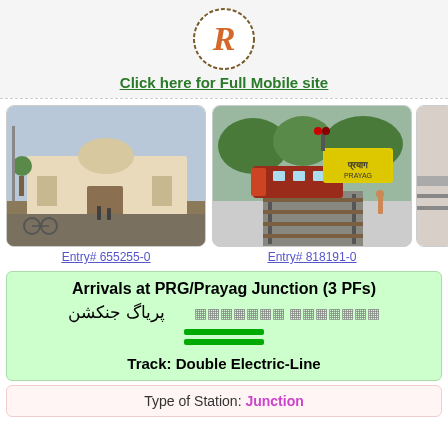[Figure (logo): Circular logo with stylized cursive R letter, brown/orange color on white background with dotted border circle]
Click here for Full Mobile site
[Figure (photo): Railway station building exterior with people and vehicles, daytime]
[Figure (photo): Railway track with train and yellow station sign reading Prayag in Hindi/Urdu, green trees in background]
Entry# 655255-0
Entry# 818191-0
Arrivals at PRG/Prayag Junction (3 PFs)
پریاگ جنکشن   प्रयाग जंक्शन
Track: Double Electric-Line
Type of Station: Junction